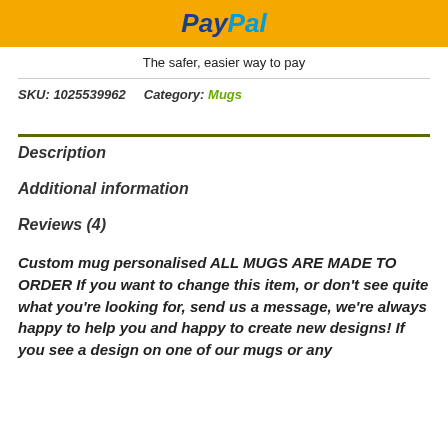[Figure (logo): PayPal logo on yellow/gold banner background]
The safer, easier way to pay
SKU: 1025539962    Category: Mugs
Description
Additional information
Reviews (4)
Custom mug personalised ALL MUGS ARE MADE TO ORDER If you want to change this item, or don't see quite what you're looking for, send us a message, we're always happy to help you and happy to create new designs! If you see a design on one of our mugs or any